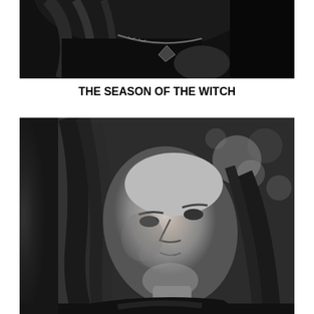[Figure (photo): Black and white close-up photo cropped at top, showing a person with long hair and a dark necklace/pendant, viewed from chin/neck area downward, dark moody background]
THE SEASON OF THE WITCH
[Figure (photo): Black and white portrait photo of a middle-aged woman with long hair, face tilted upward looking towards the sky, blurred forest/trees in background, somber and atmospheric mood]